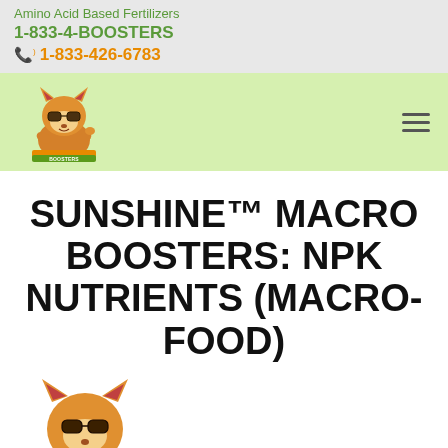Amino Acid Based Fertilizers
1-833-4-BOOSTERS
1-833-426-6783
[Figure (logo): Sunshine Boosters cartoon fox mascot logo with sunglasses, orange fur, wearing a cap, with 'SUNSHINE BOOSTERS' text below]
SUNSHINE™ MACRO BOOSTERS: NPK NUTRIENTS (MACRO-FOOD)
[Figure (illustration): Sunshine Boosters cartoon fox mascot character with sunglasses, orange fur, partially visible at bottom of page]